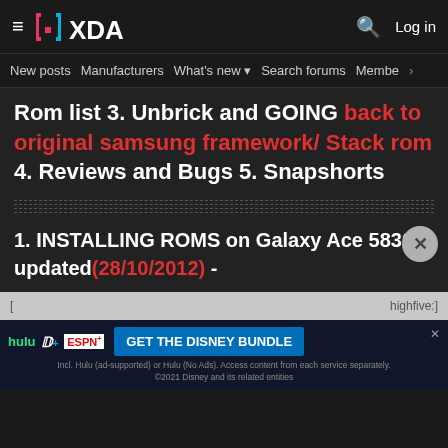XDA Forums navigation header with logo, search and Log in
New posts  Manufacturers  What's new  Search forums  Members >
Rom list 3. Unbrick and GOING back to original samsung framework/ Stack rom 4. Reviews and Bugs 5. Snapshorts
1. INSTALLING ROMS on Galaxy Ace 5830i updated(28/10/2012) -
[Figure (screenshot): Disney Bundle advertisement banner with Hulu, Disney+, ESPN+ logos and GET THE DISNEY BUNDLE call to action]